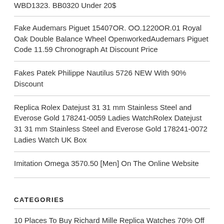WBD1323. BB0320 Under 20$
Fake Audemars Piguet 15407OR. OO.1220OR.01 Royal Oak Double Balance Wheel OpenworkedAudemars Piguet Code 11.59 Chronograph At Discount Price
Fakes Patek Philippe Nautilus 5726 NEW With 90% Discount
Replica Rolex Datejust 31 31 mm Stainless Steel and Everose Gold 178241-0059 Ladies WatchRolex Datejust 31 31 mm Stainless Steel and Everose Gold 178241-0072 Ladies Watch UK Box
Imitation Omega 3570.50 [Men] On The Online Website
CATEGORIES
10 Places To Buy Richard Mille Replica Watches 70% Off